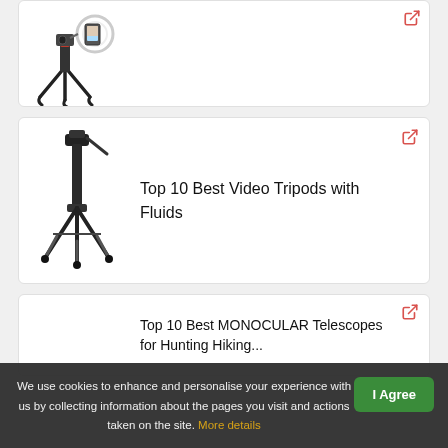[Figure (photo): Partial top card showing flexible mini tripod and ring light with phone mount]
[Figure (photo): Video tripod with fluid head, tall professional tripod on white background]
Top 10 Best Video Tripods with Fluids
[Figure (photo): Partial bottom card with monocular telescope product]
Top 10 Best MONOCULAR Telescopes for Hunting Hiking...
We use cookies to enhance and personalise your experience with us by collecting information about the pages you visit and actions taken on the site. More details